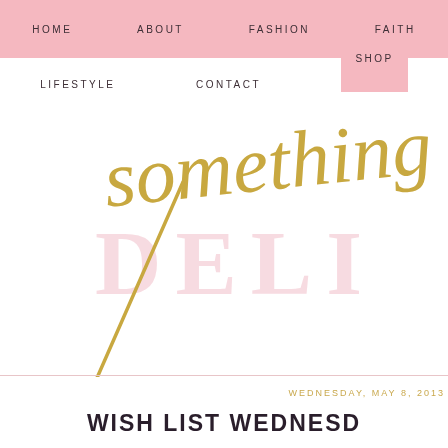HOME  ABOUT  FASHION  FAITH
LIFESTYLE  CONTACT  SHOP
[Figure (logo): Blog logo: cursive gold script reading 'something' over large pale pink serif text reading 'DELI' (cropped), forming 'something delightful' blog branding]
WEDNESDAY, MAY 8, 2013
WISH LIST WEDNESD